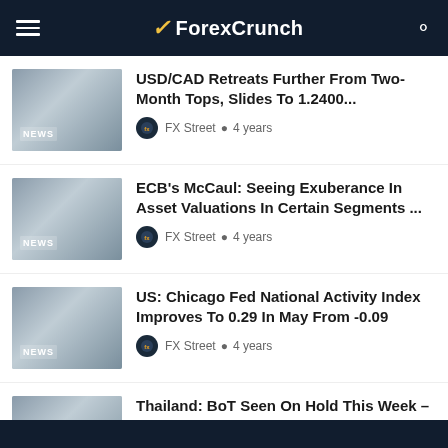ForexCrunch
USD/CAD Retreats Further From Two-Month Tops, Slides To 1.2400...
FX Street • 4 years
ECB's McCaul: Seeing Exuberance In Asset Valuations In Certain Segments ...
FX Street • 4 years
US: Chicago Fed National Activity Index Improves To 0.29 In May From -0.09
FX Street • 4 years
Thailand: BoT Seen On Hold This Week – UOB
FX Street • 4 years